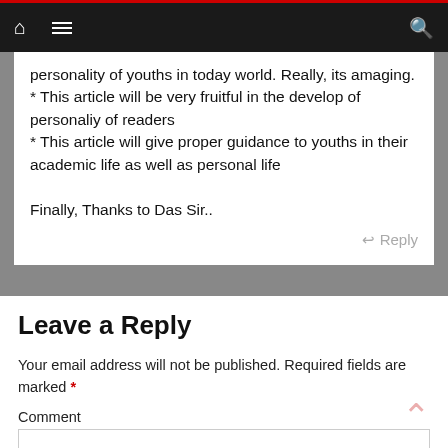Navigation bar with home, menu, and search icons
personality of youths in today world. Really, its amaging.
* This article will be very fruitful in the develop of personaliy of readers
* This article will give proper guidance to youths in their academic life as well as personal life

Finally, Thanks to Das Sir..
Reply
Leave a Reply
Your email address will not be published. Required fields are marked *
Comment